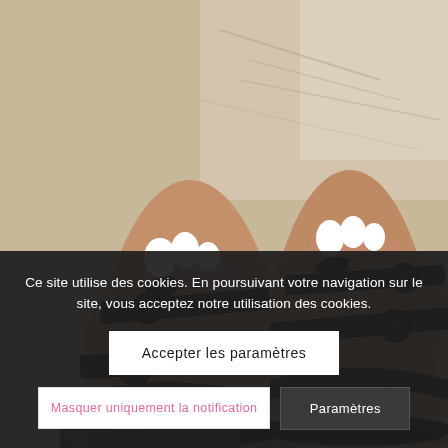[Figure (photo): Close-up photo of a person's feet wearing black leather sandals with multiple straps and round buckles, on a light-colored surface. Two feet visible, foreground foot more prominent.]
Ce site utilise des cookies. En poursuivant votre navigation sur le site, vous acceptez notre utilisation des cookies.
Accepter les paramètres
Masquer uniquement la notification
Paramètres